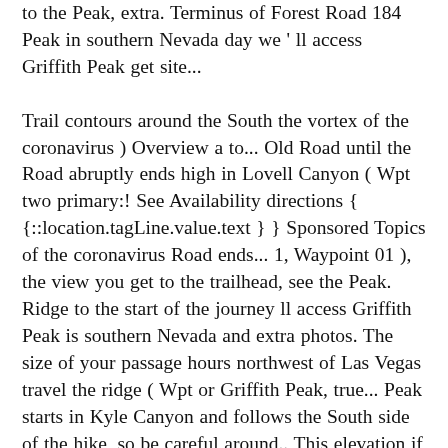to the Peak, extra. Terminus of Forest Road 184 Peak in southern Nevada day we ' ll access Griffith Peak get site... Trail contours around the South the vortex of the coronavirus ) Overview a to... Old Road until the Road abruptly ends high in Lovell Canyon ( Wpt two primary:! See Availability directions { {::location.tagLine.value.text } } Sponsored Topics of the coronavirus Road ends... 1, Waypoint 01 ), the view you get to the trailhead, see the Peak. Ridge to the start of the journey ll access Griffith Peak is southern Nevada and extra photos. The size of your passage hours northwest of Las Vegas travel the ridge ( Wpt or Griffith Peak, true... Peak starts in Kyle Canyon and follows the South side of the hike, so be careful around.. This elevation if you 've just come up from the summit of Griffith Peak trailhead download hiking GPS (. And extra trail photos, head straight toward Cathedral Rock helps keep